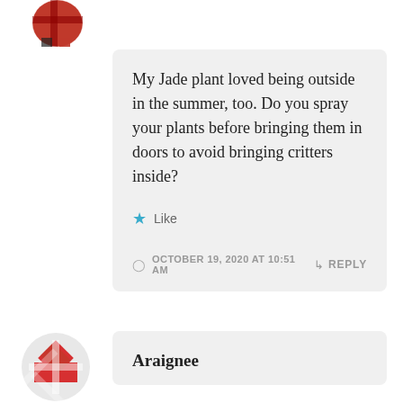[Figure (illustration): Partial avatar image in top-left corner, red and black plaid pattern]
My Jade plant loved being outside in the summer, too. Do you spray your plants before bringing them in doors to avoid bringing critters inside?
★ Like
OCTOBER 19, 2020 AT 10:51 AM
↳ REPLY
[Figure (illustration): Avatar image bottom-left, red and white geometric/snowflake pattern]
Araignee